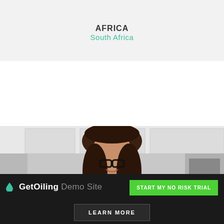AFRICA
South Africa
[Figure (photo): Woman with dark hair and glasses smiling, looking down, in a kitchen or bright interior setting]
GetOiling Demo Site
START MY NO RISK TRIAL
LEARN MORE